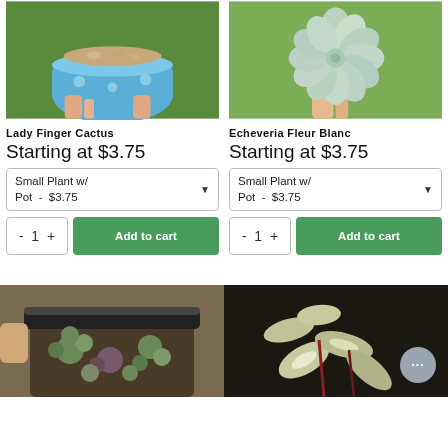[Figure (photo): Hand holding a blue decorative ceramic pot with a succulent planted in it, green leafy background]
[Figure (photo): Hand holding an Echeveria succulent rosette with blue-green fleshy leaves, green background]
Lady Finger Cactus
Echeveria Fleur Blanc
Starting at $3.75
Starting at $3.75
Small Plant w/ Pot - $3.75
Small Plant w/ Pot - $3.75
- 1 + Add to cart
- 1 + Add to cart
[Figure (photo): Top-down view of small succulent rosettes (Orostachys or similar) in a black square nursery pot with soil]
[Figure (photo): Close-up of variegated succulent with cream and green pointed leaves, dark soil background, with chat bubble icon overlay]